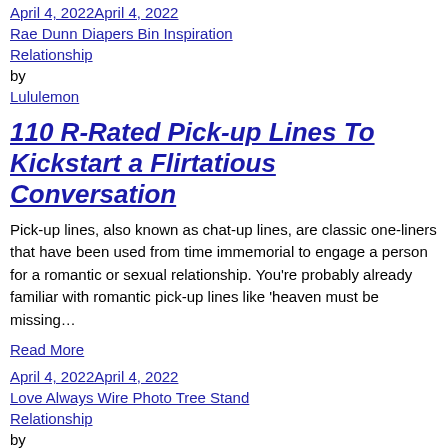April 4, 2022April 4, 2022
Rae Dunn Diapers Bin Inspiration
Relationship
by
Lululemon
110 R-Rated Pick-up Lines To Kickstart a Flirtatious Conversation
Pick-up lines, also known as chat-up lines, are classic one-liners that have been used from time immemorial to engage a person for a romantic or sexual relationship. You're probably already familiar with romantic pick-up lines like 'heaven must be missing…
Read More
April 4, 2022April 4, 2022
Love Always Wire Photo Tree Stand
Relationship
by
Toddler Swimsuit
35 Best Dirty Jokes You Can Tell To